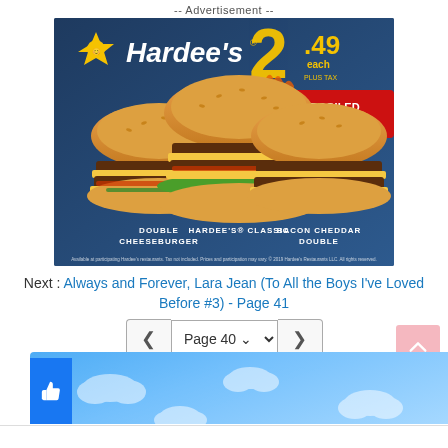-- Advertisement --
[Figure (photo): Hardee's advertisement showing three charbroiled burgers (Double Cheeseburger, Hardee's Classic, Bacon Cheddar Double) priced at $2.49 each plus tax, labeled 'Charbroiled Double Deals']
Next : Always and Forever, Lara Jean (To All the Boys I've Loved Before #3) - Page 41
Page 40
[Figure (screenshot): Facebook like button bar with blue background and cloud decorations]